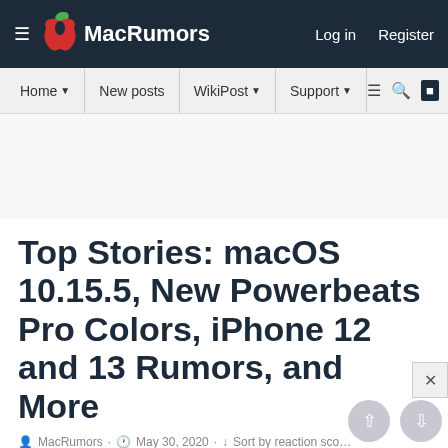MacRumors — Log in  Register
Home · New posts · WikiPost · Support
Top Stories: macOS 10.15.5, New Powerbeats Pro Colors, iPhone 12 and 13 Rumors, and More
MacRumors · May 30, 2020 · Sort by reaction score